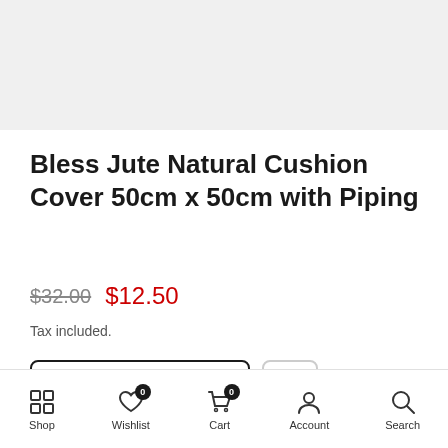[Figure (photo): Product image placeholder area (grey background)]
Bless Jute Natural Cushion Cover 50cm x 50cm with Piping
$32.00  $12.50
Tax included.
Out of stock
Shop  Wishlist 0  Cart 0  Account  Search